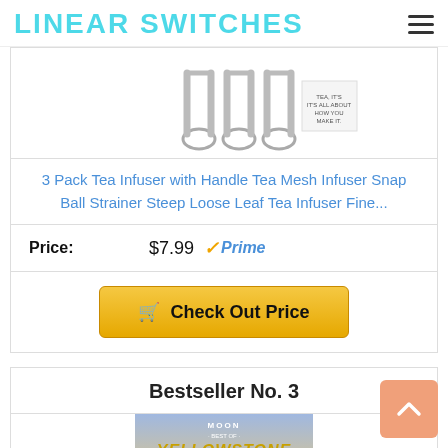LINEAR SWITCHES
[Figure (photo): Product photo of 3 safety-pin style tea infusers with handles]
3 Pack Tea Infuser with Handle Tea Mesh Infuser Snap Ball Strainer Steep Loose Leaf Tea Infuser Fine...
Price: $7.99 ✓Prime
🛒 Check Out Price
Bestseller No. 3
[Figure (photo): Book cover: Moon Best of Yellowstone & Grand Teton]